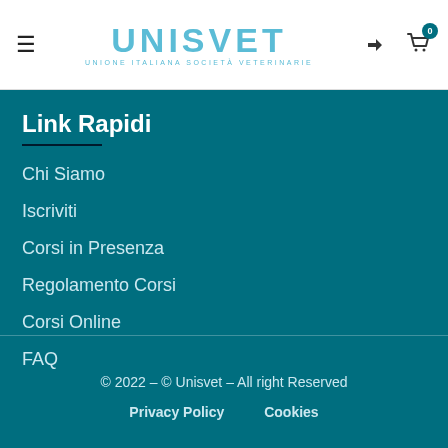≡  UNISVET  UNIONE ITALIANA SOCIETÀ VETERINARIE  →]  🛒 0
Link Rapidi
Chi Siamo
Iscriviti
Corsi in Presenza
Regolamento Corsi
Corsi Online
FAQ
© 2022 – © Unisvet – All right Reserved   Privacy Policy   Cookies